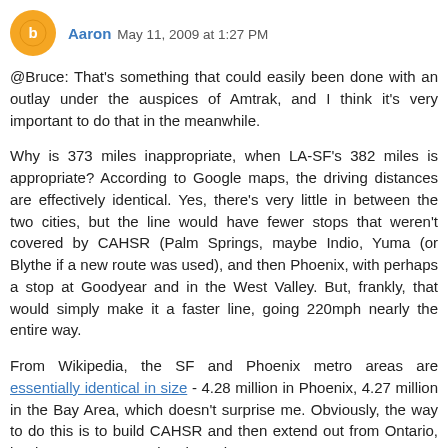Aaron  May 11, 2009 at 1:27 PM
@Bruce: That's something that could easily been done with an outlay under the auspices of Amtrak, and I think it's very important to do that in the meanwhile.

Why is 373 miles inappropriate, when LA-SF's 382 miles is appropriate? According to Google maps, the driving distances are effectively identical. Yes, there's very little in between the two cities, but the line would have fewer stops that weren't covered by CAHSR (Palm Springs, maybe Indio, Yuma (or Blythe if a new route was used), and then Phoenix, with perhaps a stop at Goodyear and in the West Valley. But, frankly, that would simply make it a faster line, going 220mph nearly the entire way.

From Wikipedia, the SF and Phoenix metro areas are essentially identical in size - 4.28 million in Phoenix, 4.27 million in the Bay Area, which doesn't surprise me. Obviously, the way to do this is to build CAHSR and then extend out from Ontario, but because you're going through